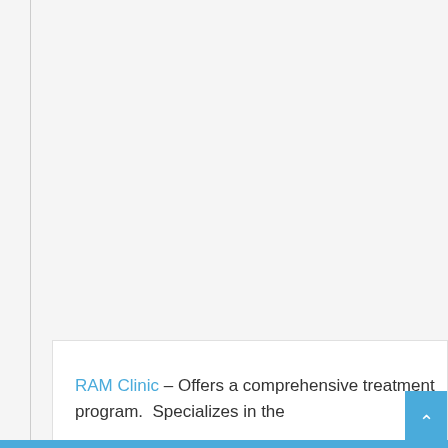RAM Clinic – Offers a comprehensive treatment program.  Specializes in the